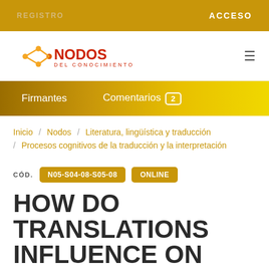REGISTRO   ACCESO
[Figure (logo): Nodos del Conocimiento logo with orange network icon and red NODOS text]
Firmantes   Comentarios 2
Inicio / Nodos / Literatura, lingüística y traducción / Procesos cognitivos de la traducción y la interpretación
CÓD.  N05-S04-08-S05-08  ONLINE
HOW DO TRANSLATIONS INFLUENCE ON